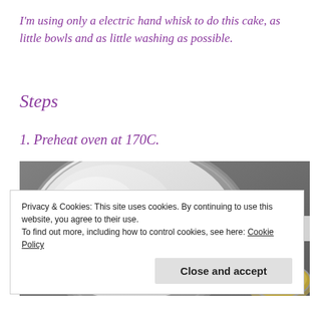I'm using only a electric hand whisk to do this cake, as little bowls and as little washing as possible.
Steps
1. Preheat oven at 170C.
[Figure (photo): Overhead photo of a round baking tin lined with white parchment paper and a small tin on the right with yellow content, on a dark grey surface.]
Privacy & Cookies: This site uses cookies. By continuing to use this website, you agree to their use.
To find out more, including how to control cookies, see here: Cookie Policy
Close and accept